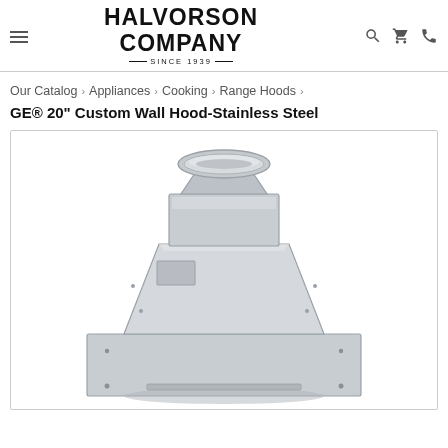[Figure (logo): Halvorson Company Since 1939 logo in bold black text]
Our Catalog › Appliances › Cooking › Range Hoods ›
GE® 20" Custom Wall Hood-Stainless Steel
[Figure (photo): Stainless steel custom wall range hood product image showing trapezoidal body with round duct collar on top and wide base canopy]